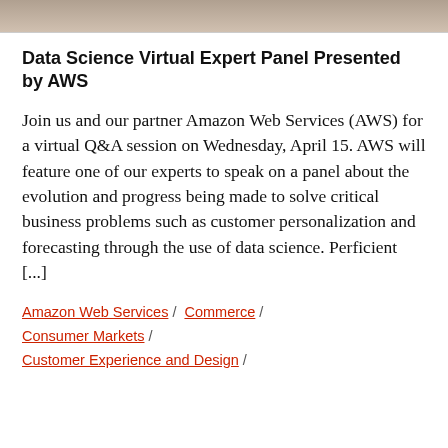[Figure (photo): A cropped photo strip at the top of the page, showing a partial image of people or a scene, appearing in muted brown/gray tones.]
Data Science Virtual Expert Panel Presented by AWS
Join us and our partner Amazon Web Services (AWS) for a virtual Q&A session on Wednesday, April 15. AWS will feature one of our experts to speak on a panel about the evolution and progress being made to solve critical business problems such as customer personalization and forecasting through the use of data science. Perficient [...]
Amazon Web Services / Commerce / Consumer Markets / Customer Experience and Design /